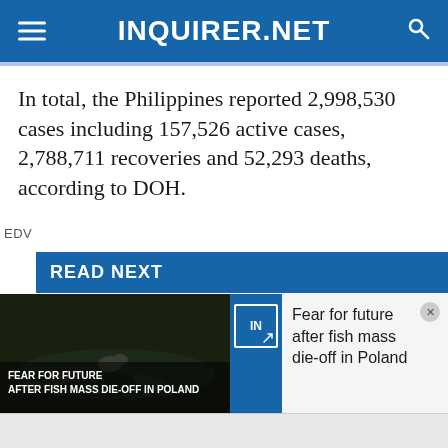INQUIRER.NET
In total, the Philippines reported 2,998,530 cases including 157,526 active cases, 2,788,711 recoveries and 52,293 deaths, according to DOH.
EDV
READ NEXT
[Figure (photo): Photo of a person at a press conference with dark blue curtains in background]
[Figure (photo): Thumbnail image of dead fish in water with text overlay: FEAR FOR FUTURE AFTER FISH MASS DIE-OFF IN POLAND]
Fear for future after fish mass die-off in Poland